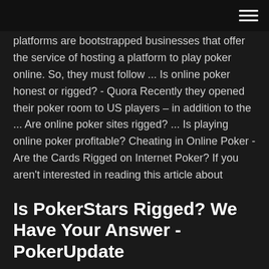platforms are bootstrapped businesses that offer the service of hosting a platform to play poker online. So, they must follow ... Is online poker honest or rigged? - Quora Recently they opened their poker room to US players – in addition to the ... Are online poker sites rigged? ... Is playing online poker profitable? Cheating in Online Poker - Are the Cards Rigged on Internet Poker? If you aren't interested in reading this article about cheating in poker and just want to find a site that you can trust, then I recommend you visit PokerStars. The great "Poker is rigged" debate - Collected threads edition ...
Is PokerStars Rigged? We Have Your Answer - PokerUpdate